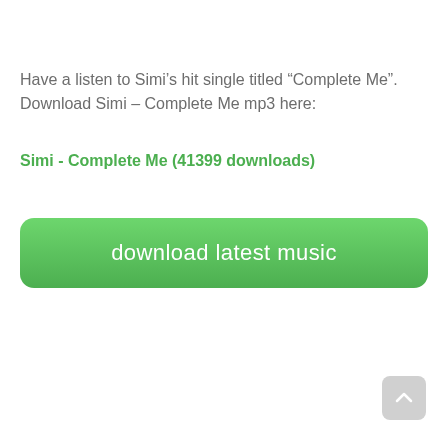Have a listen to Simi’s hit single titled “Complete Me”. Download Simi – Complete Me mp3 here:
Simi - Complete Me (41399 downloads)
[Figure (other): Green download button with text 'download latest music']
[Figure (other): Scroll-to-top button with upward chevron arrow]